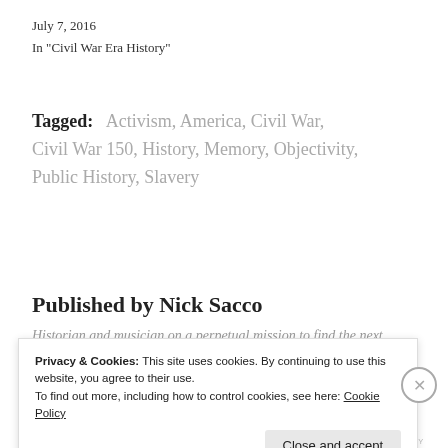July 7, 2016
In "Civil War Era History"
Tagged: Activism, America, Civil War, Civil War 150, History, Memory, Objectivity, Public History, Slavery
Published by Nick Sacco
Historian and musician on a perpetual mission to find the next
Privacy & Cookies: This site uses cookies. By continuing to use this website, you agree to their use. To find out more, including how to control cookies, see here: Cookie Policy
Close and accept